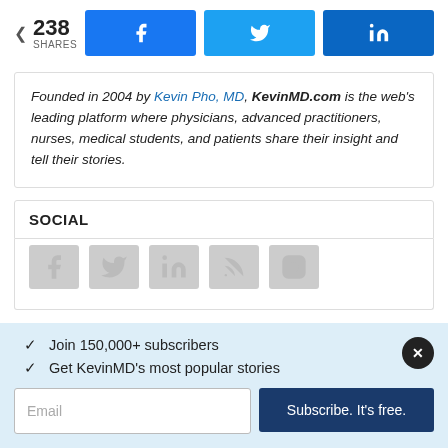[Figure (infographic): Share count showing 238 SHARES with Facebook, Twitter, and LinkedIn share buttons]
Founded in 2004 by Kevin Pho, MD, KevinMD.com is the web's leading platform where physicians, advanced practitioners, nurses, medical students, and patients share their insight and tell their stories.
SOCIAL
[Figure (infographic): Row of social media icons: Facebook, Twitter, LinkedIn, RSS feed, Instagram - shown in gray]
✓  Join 150,000+ subscribers
✓  Get KevinMD's most popular stories
Email  [input]  Subscribe. It's free.